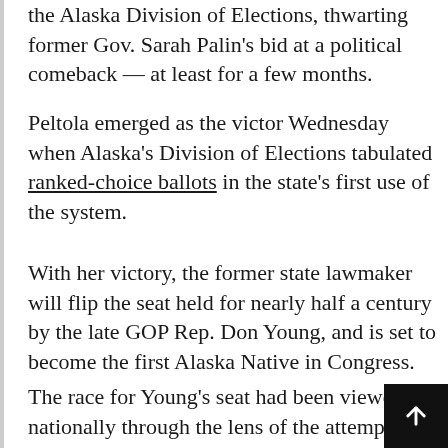the Alaska Division of Elections, thwarting former Gov. Sarah Palin's bid at a political comeback — at least for a few months.
Peltola emerged as the victor Wednesday when Alaska's Division of Elections tabulated ranked-choice ballots in the state's first use of the system.
With her victory, the former state lawmaker will flip the seat held for nearly half a century by the late GOP Rep. Don Young, and is set to become the first Alaska Native in Congress.
The race for Young's seat had been viewed nationally through the lens of the attempted political comeback of Palin, who in 2008 became the Republican vice presidential nominee and, after losing, in 2009 resigned midway through